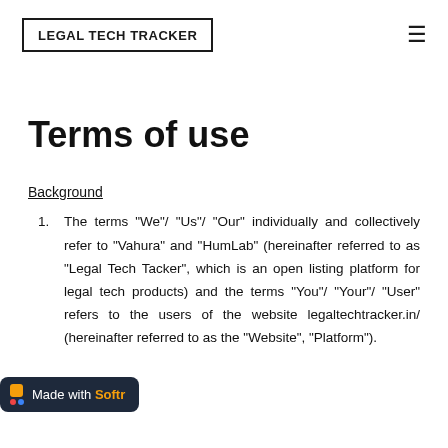LEGAL TECH TRACKER
Terms of use
Background
The terms "We"/ "Us"/ "Our" individually and collectively refer to "Vahura" and "HumLab" (hereinafter referred to as "Legal Tech Tacker", which is an open listing platform for legal tech products) and the terms "You"/ "Your"/ "User" refers to the users of the website legaltechtracker.in/ (hereinafter referred to as the "Website", "Platform").